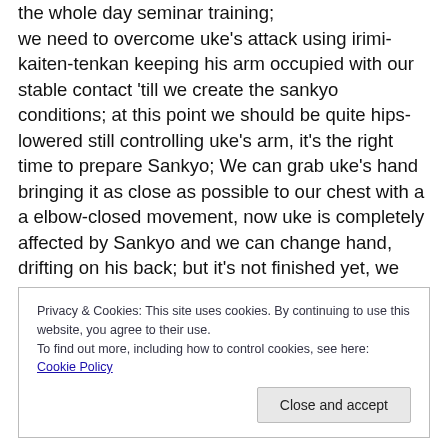the whole day seminar training; we need to overcome uke's attack using irimi-kaiten-tenkan keeping his arm occupied with our stable contact 'till we create the sankyo conditions; at this point we should be quite hips-lowered still controlling uke's arm, it's the right time to prepare Sankyo; We can grab uke's hand bringing it as close as possible to our chest with a a elbow-closed movement, now uke is completely affected by Sankyo and we can change hand, drifting on his back; but it's not finished yet, we still have an irimi-tenkan to be applied all together with the hand work...we don't need to
Privacy & Cookies: This site uses cookies. By continuing to use this website, you agree to their use.
To find out more, including how to control cookies, see here: Cookie Policy